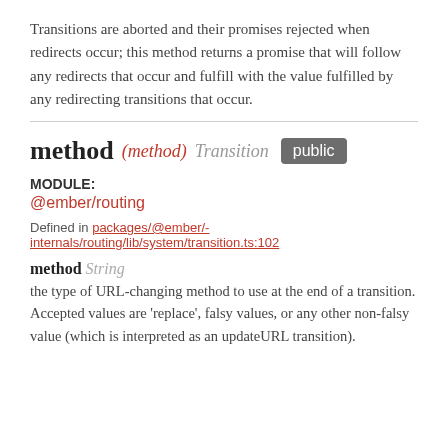Transitions are aborted and their promises rejected when redirects occur; this method returns a promise that will follow any redirects that occur and fulfill with the value fulfilled by any redirecting transitions that occur.
method (method) Transition public
MODULE:
@ember/routing
Defined in packages/@ember/-internals/routing/lib/system/transition.ts:102
method String
the type of URL-changing method to use at the end of a transition. Accepted values are 'replace', falsy values, or any other non-falsy value (which is interpreted as an updateURL transition).